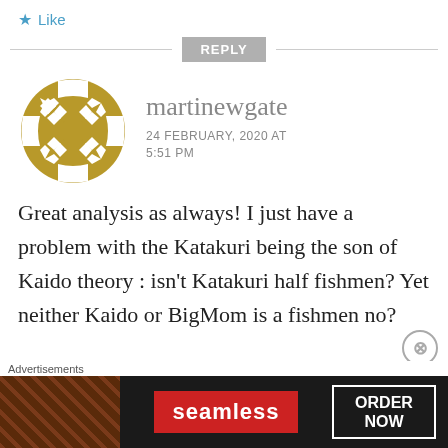★ Like
REPLY
[Figure (logo): Golden geometric avatar icon for user martinewgate — circular design with star/cross pattern in gold/olive color]
martinewgate
24 FEBRUARY, 2020 AT 5:51 PM
Great analysis as always! I just have a problem with the Katakuri being the son of Kaido theory : isn't Katakuri half fishmen? Yet neither Kaido or BigMom is a fishmen no?
Advertisements
[Figure (screenshot): Seamless food delivery advertisement banner with pizza image on left, Seamless red logo in center, ORDER NOW button on right, dark background]